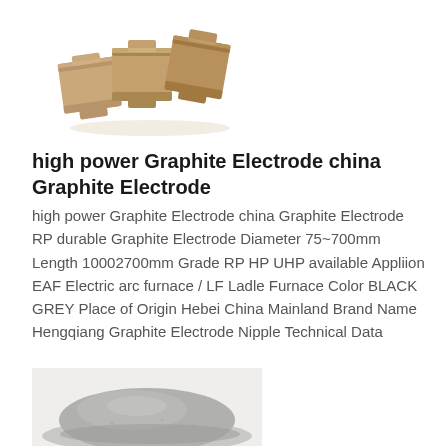[Figure (photo): Three beige/tan rectangular blocks (refractory or ceramic blocks) arranged in a slightly fanned-out row on a white background.]
high power Graphite Electrode china Graphite Electrode
high power Graphite Electrode china Graphite Electrode RP durable Graphite Electrode Diameter 75~700mm Length 10002700mm Grade RP HP UHP available Appliion EAF Electric arc furnace / LF Ladle Furnace Color BLACK GREY Place of Origin Hebei China Mainland Brand Name Hengqiang Graphite Electrode Nipple Technical Data
[Figure (photo): A pile of fine grey/silver metallic powder or granules on a white background, photographed from slightly above.]